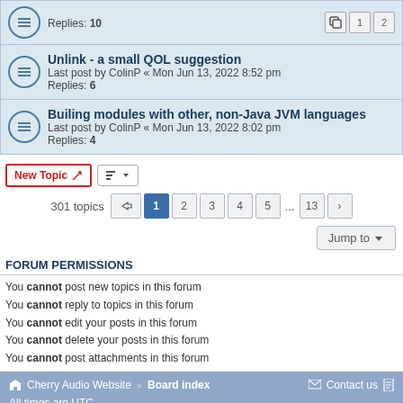Replies: 10
Unlink - a small QOL suggestion
Last post by ColinP « Mon Jun 13, 2022 8:52 pm
Replies: 6
Builing modules with other, non-Java JVM languages
Last post by ColinP « Mon Jun 13, 2022 8:02 pm
Replies: 4
New Topic | Sort | 301 topics | 1 2 3 4 5 ... 13 >
Jump to
FORUM PERMISSIONS
You cannot post new topics in this forum
You cannot reply to topics in this forum
You cannot edit your posts in this forum
You cannot delete your posts in this forum
You cannot post attachments in this forum
Cherry Audio Website · Board index   Contact us   All times are UTC
Powered by phpBB® Forum Software © phpBB Limited
Privacy | Terms